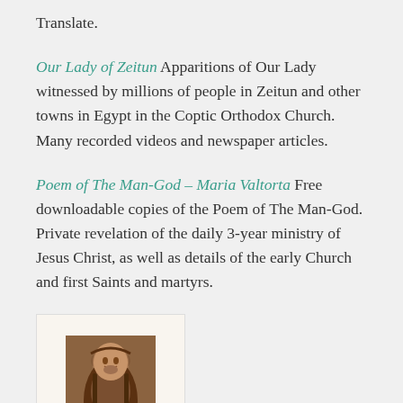Translate.
Our Lady of Zeitun Apparitions of Our Lady witnessed by millions of people in Zeitun and other towns in Egypt in the Coptic Orthodox Church. Many recorded videos and newspaper articles.
Poem of The Man-God – Maria Valtorta Free downloadable copies of the Poem of The Man-God. Private revelation of the daily 3-year ministry of Jesus Christ, as well as details of the early Church and first Saints and martyrs.
[Figure (illustration): Image of Jesus Christ, a painted portrait showing Jesus with long hair and beard, wearing robes, with warm brown tones.]
Prophet John Leary Official website, English